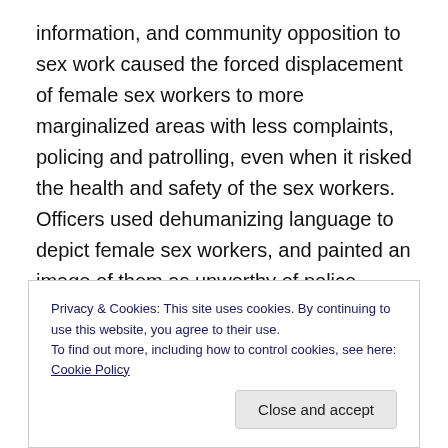information, and community opposition to sex work caused the forced displacement of female sex workers to more marginalized areas with less complaints, policing and patrolling, even when it risked the health and safety of the sex workers. Officers used dehumanizing language to depict female sex workers, and painted an image of them as unworthy of police protection despite their acknowledged vulnerability to crime and assault. Footer et al. call for the decriminalization of sex work, policy reforms regarding police practices, as well as a shift in community and police cultural landscapes to improve the safety and
Privacy & Cookies: This site uses cookies. By continuing to use this website, you agree to their use.
To find out more, including how to control cookies, see here: Cookie Policy
Close and accept